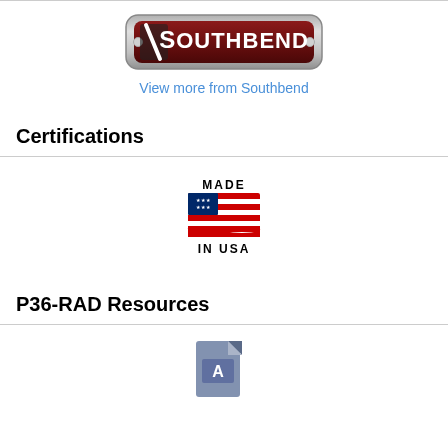[Figure (logo): Southbend brand logo — dark red/maroon badge with silver border and white text reading 'Southbend' with a diagonal slash icon on the left]
View more from Southbend
Certifications
[Figure (logo): Made in USA badge featuring an American flag with text 'MADE' above and 'IN USA' below]
P36-RAD Resources
[Figure (illustration): PDF document icon — blue/grey file icon with PDF Acrobat symbol]